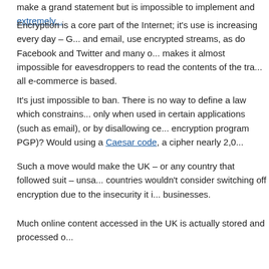make a grand statement but is impossible to implement and extremely...
Encryption is a core part of the Internet; it's use is increasing every day – G... and email, use encrypted streams, as do Facebook and Twitter and many o... makes it almost impossible for eavesdroppers to read the contents of the tra... all e-commerce is based.
It's just impossible to ban. There is no way to define a law which constrains... only when used in certain applications (such as email), or by disallowing cer... encryption program PGP)? Would using a Caesar code, a cipher nearly 2,0...
Such a move would make the UK – or any country that followed suit – unsa... countries wouldn't consider switching off encryption due to the insecurity it i... businesses.
Much online content accessed in the UK is actually stored and processed o... suspects that they may be monitored can set up a secure connection to a re... for example – and store and process information there. How would this fall u...
And where would the ban end? Would it include character encoding, such a... for email attachments, or the encoding that provides non-Roman character s... is also the basis for cryptographic signing, a digital signature used by all ma...